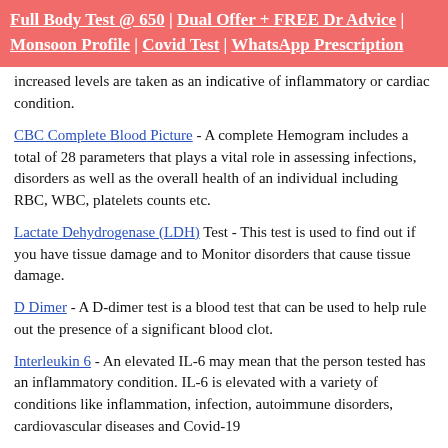Full Body Test @ 650 | Dual Offer + FREE Dr Advice | Monsoon Profile | Covid Test | WhatsApp Prescription
increased levels are taken as an indicative of inflammatory or cardiac condition.
CBC Complete Blood Picture - A complete Hemogram includes a total of 28 parameters that plays a vital role in assessing infections, disorders as well as the overall health of an individual including RBC, WBC, platelets counts etc.
Lactate Dehydrogenase (LDH) Test - This test is used to find out if you have tissue damage and to Monitor disorders that cause tissue damage.
D Dimer - A D-dimer test is a blood test that can be used to help rule out the presence of a significant blood clot.
Interleukin 6 - An elevated IL-6 may mean that the person tested has an inflammatory condition. IL-6 is elevated with a variety of conditions like inflammation, infection, autoimmune disorders, cardiovascular diseases and Covid-19
LFT: Liver Function test - SGPT and SGOT levels in LFT test are an indication of liver cell injury or damage and hence they should be detected in Covid-19